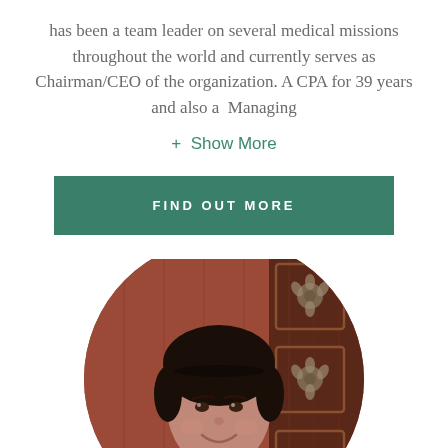has been a team leader on several medical missions throughout the world and currently serves as Chairman/CEO of the organization. A CPA for 39 years and also a  Managing
+ Show More
FIND OUT MORE
[Figure (photo): Circular cropped portrait photo of a woman with short dark hair, smiling, wearing a white top, standing in front of a wooden door with decorative elements]